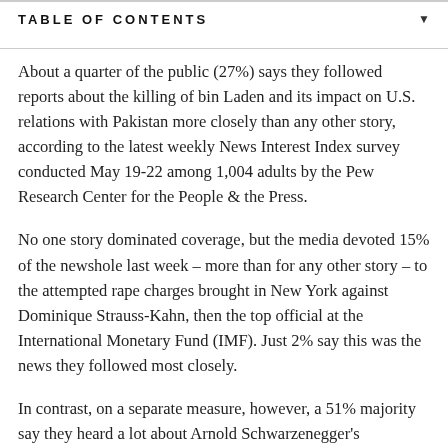TABLE OF CONTENTS
About a quarter of the public (27%) says they followed reports about the killing of bin Laden and its impact on U.S. relations with Pakistan more closely than any other story, according to the latest weekly News Interest Index survey conducted May 19-22 among 1,004 adults by the Pew Research Center for the People & the Press.
No one story dominated coverage, but the media devoted 15% of the newshole last week – more than for any other story – to the attempted rape charges brought in New York against Dominique Strauss-Kahn, then the top official at the International Monetary Fund (IMF). Just 2% say this was the news they followed most closely.
In contrast, on a separate measure, however, a 51% majority say they heard a lot about Arnold Schwarzenegger's